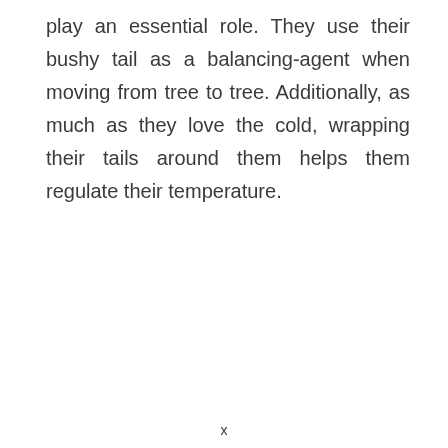play an essential role. They use their bushy tail as a balancing-agent when moving from tree to tree. Additionally, as much as they love the cold, wrapping their tails around them helps them regulate their temperature.
x